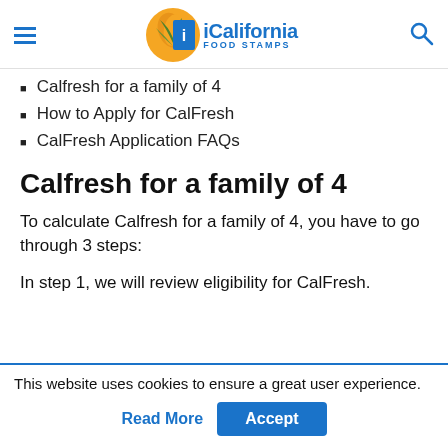iCalifornia FOOD STAMPS
Calfresh for a family of 4
How to Apply for CalFresh
CalFresh Application FAQs
Calfresh for a family of 4
To calculate Calfresh for a family of 4, you have to go through 3 steps:
In step 1, we will review eligibility for CalFresh.
This website uses cookies to ensure a great user experience.